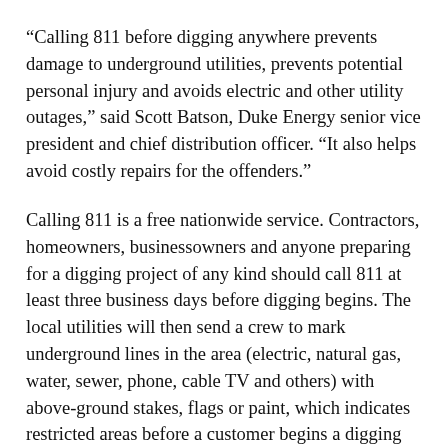“Calling 811 before digging anywhere prevents damage to underground utilities, prevents potential personal injury and avoids electric and other utility outages,” said Scott Batson, Duke Energy senior vice president and chief distribution officer. “It also helps avoid costly repairs for the offenders.”
Calling 811 is a free nationwide service. Contractors, homeowners, businessowners and anyone preparing for a digging project of any kind should call 811 at least three business days before digging begins. The local utilities will then send a crew to mark underground lines in the area (electric, natural gas, water, sewer, phone, cable TV and others) with above-ground stakes, flags or paint, which indicates restricted areas before a customer begins a digging project.
In 2019, the U.S. Common Ground Alliance reported approximately 532,000 excavation-related damage events in the U.S., an increase of 14 percent from 2018, the latest year